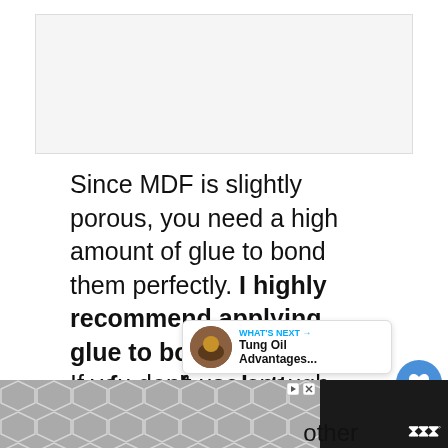[Figure (photo): Image placeholder area at the top of the page]
Since MDF is slightly porous, you need a high amount of glue to bond them perfectly. I highly recommend applying glue to both MDF surfaces for a better bond.

If you don't use enough glue, the surface will absorb it quickly and dry fast, causing a weak bond. So, always make sure...
[Figure (screenshot): What's Next popup showing Tung Oil Advantages article thumbnail and title]
[Figure (screenshot): Bottom advertisement banner with hexagon pattern and Millennial Media logo]